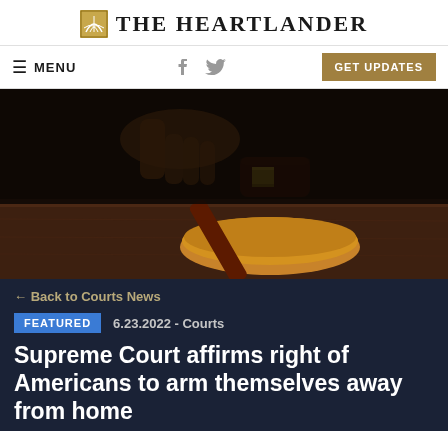THE HEARTLANDER
MENU  GET UPDATES
[Figure (photo): Close-up photograph of a judge's gavel with a gold band resting on a wooden sound block on a dark wood surface, with a hand in the background]
← Back to Courts News
FEATURED  6.23.2022 - Courts
Supreme Court affirms right of Americans to arm themselves away from home